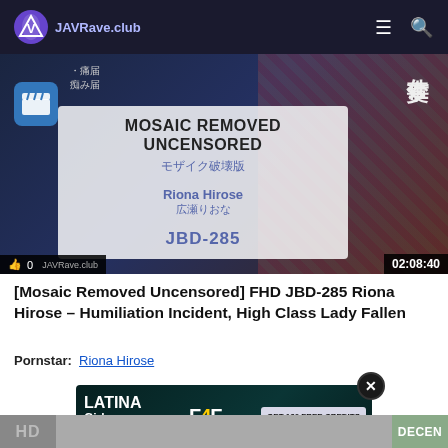JAVRave.club
[Figure (screenshot): Video thumbnail for JBD-285 Riona Hirose with MOSAIC REMOVED UNCENSORED overlay text and 02:08:40 duration]
[Mosaic Removed Uncensored] FHD JBD-285 Riona Hirose – Humiliation Incident, High Class Lady Fallen
Pornstar:  Riona Hirose
[Figure (screenshot): Advertisement banner: LATINA Girls are WAITING, F4F logo, GET 120 FREE CREDITS button]